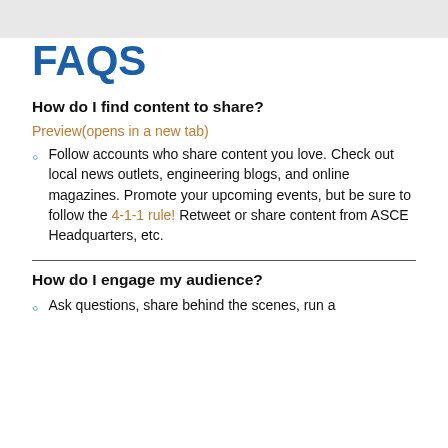FAQS
How do I find content to share?
Preview(opens in a new tab)
Follow accounts who share content you love. Check out local news outlets, engineering blogs, and online magazines. Promote your upcoming events, but be sure to follow the 4-1-1 rule! Retweet or share content from ASCE Headquarters, etc.
How do I engage my audience?
Ask questions, share behind the scenes, run a